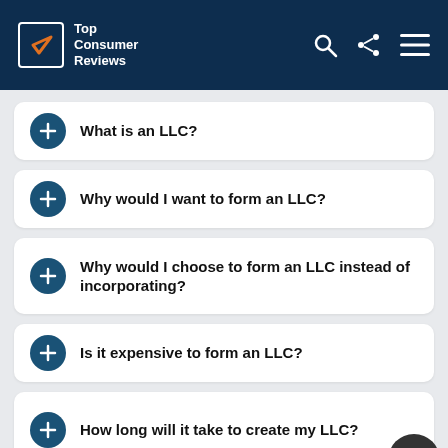Top Consumer Reviews
What is an LLC?
Why would I want to form an LLC?
Why would I choose to form an LLC instead of incorporating?
Is it expensive to form an LLC?
How long will it take to create my LLC?